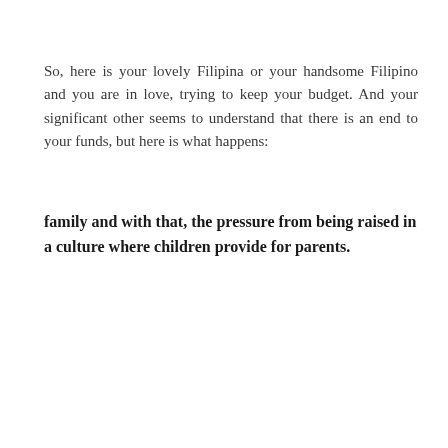So, here is your lovely Filipina or your handsome Filipino and you are in love, trying to keep your budget. And your significant other seems to understand that there is an end to your funds, but here is what happens:
family and with that, the pressure from being raised in a culture where children provide for parents.